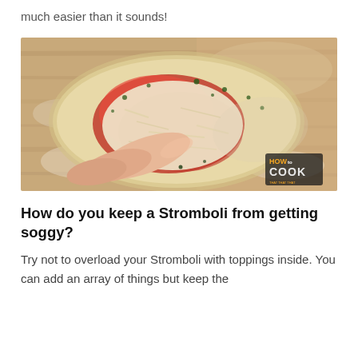much easier than it sounds!
[Figure (photo): Overhead view of a hand spreading shredded cheese onto pizza dough topped with tomato sauce and herbs, on a floured wooden cutting board. A 'How to Cook' watermark appears in the bottom right corner.]
How do you keep a Stromboli from getting soggy?
Try not to overload your Stromboli with toppings inside. You can add an array of things but keep the